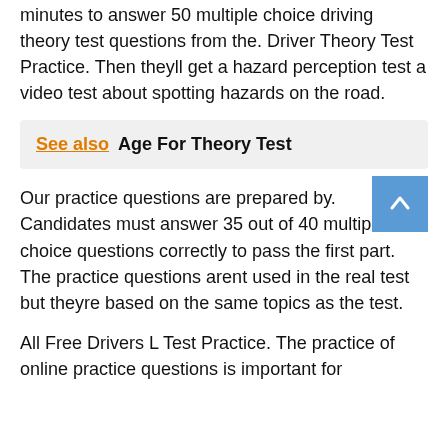minutes to answer 50 multiple choice driving theory test questions from the. Driver Theory Test Practice. Then theyll get a hazard perception test a video test about spotting hazards on the road.
See also  Age For Theory Test
Our practice questions are prepared by. Candidates must answer 35 out of 40 multiple-choice questions correctly to pass the first part. The practice questions arent used in the real test but theyre based on the same topics as the test.
All Free Drivers L Test Practice. The practice of online practice questions is important for